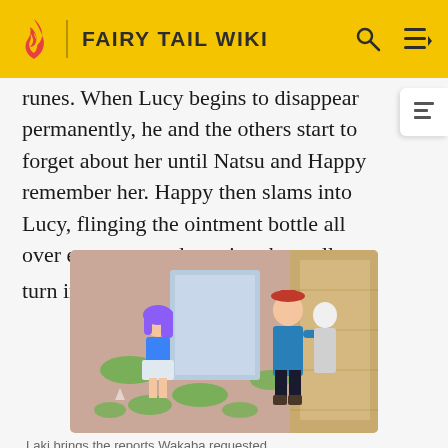FAIRY TAIL WIKI
runes. When Lucy begins to disappear permanently, he and the others start to forget about her until Natsu and Happy remember her. Happy then slams into Lucy, flinging the ointment bottle all over everyone and causing them all to turn invisible.[41]
[Figure (photo): Screenshot from Fairy Tail anime showing two characters: a girl with purple hair and a man with a hat, standing in a guild hall with green and pink decorations on the floor.]
Laki brings the reports Wakaba requested
Days later, a girl named Michelle Lobster comes into the guild claiming she is related to Lucy. She then gives Lucy a gift from her father: a clock hand. Later on, Macao asks